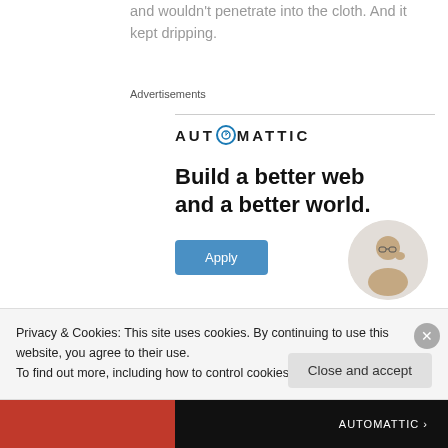and wouldn't penetrate into the cloth. And it kept dripping.
Advertisements
[Figure (logo): Automattic logo with compass/clock icon inside the letter O]
Build a better web and a better world.
[Figure (illustration): Apply button (blue) and circular photo of a man with glasses thinking]
Privacy & Cookies: This site uses cookies. By continuing to use this website, you agree to their use.
To find out more, including how to control cookies, see here: Cookie Policy
Close and accept